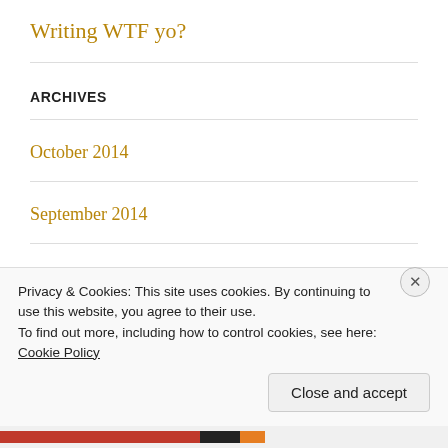Writing WTF yo?
ARCHIVES
October 2014
September 2014
June 2013
Privacy & Cookies: This site uses cookies. By continuing to use this website, you agree to their use.
To find out more, including how to control cookies, see here: Cookie Policy
Close and accept